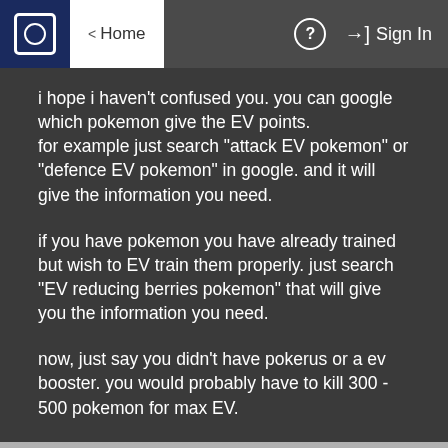Home | ? | Sign In
i hope i haven't confused you. you can google which pokemon give the EV points.
for example just search "attack EV pokemon" or "defence EV pokemon" in google. and it will give the information you need.
if you have pokemon you have already trained but wish to EV train them properly. just search "EV reducing berries pokemon" that will give you the information you need.
now, just say you didn't have pokerus or a ev booster. you would probably have to kill 300 - 500 pokemon for max EV.
it sounds like a lot. but if you work at it all day, you will get through it. besides, you'll get loads of exp for your pokemon as well!! u...